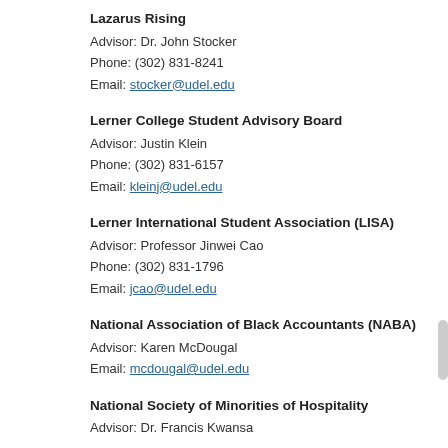Lazarus Rising
Advisor: Dr. John Stocker
Phone: (302) 831-8241
Email: stocker@udel.edu
Lerner College Student Advisory Board
Advisor: Justin Klein
Phone: (302) 831-6157
Email: kleinj@udel.edu
Lerner International Student Association (LISA)
Advisor: Professor Jinwei Cao
Phone: (302) 831-1796
Email: jcao@udel.edu
National Association of Black Accountants (NABA)
Advisor: Karen McDougal
Email: mcdougal@udel.edu
National Society of Minorities of Hospitality
Advisor: Dr. Francis Kwansa